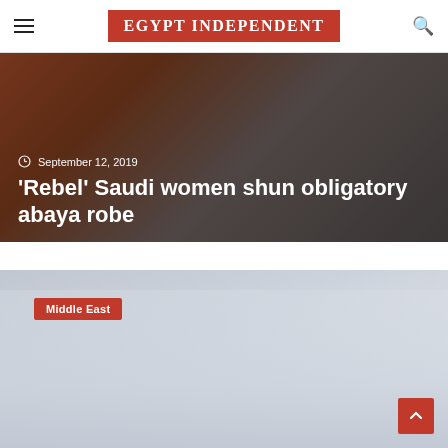EGYPT INDEPENDENT
[Figure (photo): Hero image of article about Saudi women shunning abaya robe, showing people walking, overlaid with article date and title on dark background]
September 12, 2019
'Rebel' Saudi women shun obligatory abaya robe
[Figure (photo): Second article card showing a sky/clouds background with a 'Middle East' category badge in red, and a red scroll-to-top button in bottom right corner]